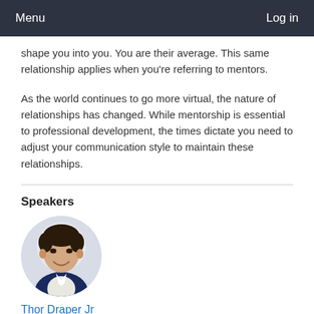Menu    Log in
shape you into you. You are their average. This same relationship applies when you're referring to mentors.
As the world continues to go more virtual, the nature of relationships has changed. While mentorship is essential to professional development, the times dictate you need to adjust your communication style to maintain these relationships.
Speakers
[Figure (photo): Circular headshot photo of Thor Draper Jr, a young man in a navy suit with a light shirt, smiling, with a blurred light background.]
Thor Draper Jr
Azure Networking Engineer, Microsoft